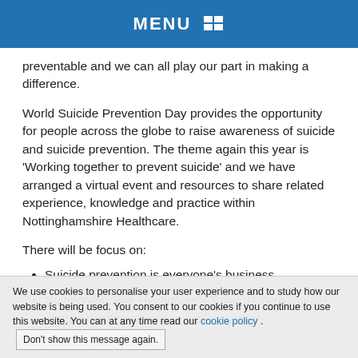MENU
preventable and we can all play our part in making a difference.
World Suicide Prevention Day provides the opportunity for people across the globe to raise awareness of suicide and suicide prevention. The theme again this year is ‘Working together to prevent suicide’ and we have arranged a virtual event and resources to share related experience, knowledge and practice within Nottinghamshire Healthcare.
There will be focus on:
Suicide prevention is everyone’s business.
Nottinghamshire Healthcare’s Towards Zero Suicide strategy and how we can work together,
We use cookies to personalise your user experience and to study how our website is being used. You consent to our cookies if you continue to use this website. You can at any time read our cookie policy . Don’t show this message again.